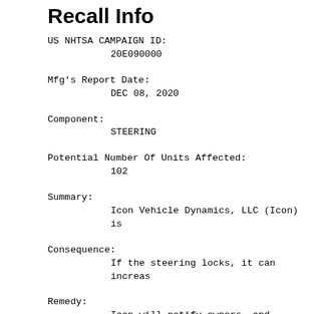Recall Info
US NHTSA CAMPAIGN ID:
        20E090000
Mfg's Report Date:
        DEC 08, 2020
Component:
        STEERING
Potential Number Of Units Affected:
        102
Summary:
        Icon Vehicle Dynamics, LLC (Icon) is
Consequence:
        If the steering locks, it can increas
Remedy:
        Icon will notify owners, and dealers